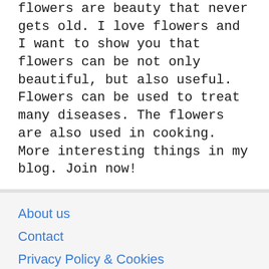Flowers are beauty that never gets old. I love flowers and I want to show you that flowers can be not only beautiful, but also useful. Flowers can be used to treat many diseases. The flowers are also used in cooking. More interesting things in my blog. Join now!
About us
Contact
Privacy Policy & Cookies
ATTENTION TO RIGHT HOLDERS! All materials are posted on the site strictly for informational and educational purposes! If you believe that the posting of any material